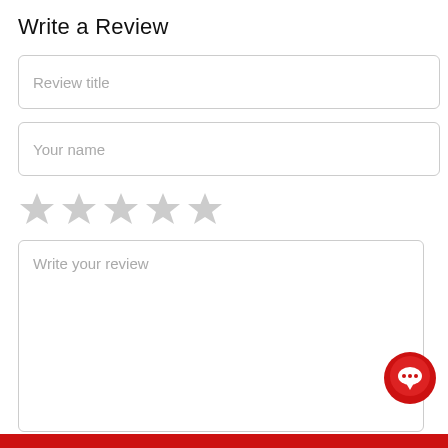Write a Review
Review title
Your name
[Figure (other): Five empty gray star rating icons]
Write your review
[Figure (other): Red circular chat/message button with white speech bubble icon]
[Figure (other): Red bottom bar]